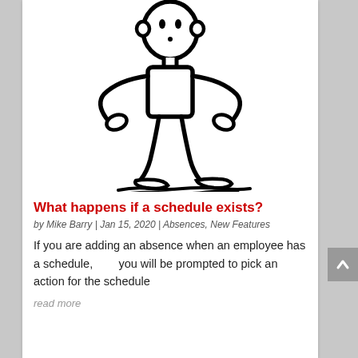[Figure (illustration): Hand-drawn stick figure illustration of a person standing with hands on hips, drawn in bold black lines on white background.]
What happens if a schedule exists?
by Mike Barry | Jan 15, 2020 | Absences, New Features
If you are adding an absence when an employee has a schedule,        you will be prompted to pick an action for the schedule
read more